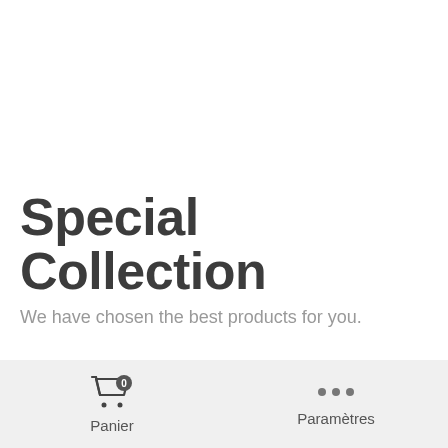Special Collection
We have chosen the best products for you.
Panier  Paramètres